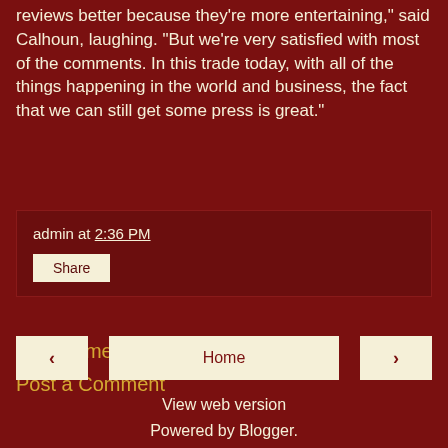Yeah, we've been slugged, too, but I like reading the slug reviews better because they're more entertaining," said Calhoun, laughing. "But we're very satisfied with most of the comments. In this trade today, with all of the things happening in the world and business, the fact that we can still get some press is great."
admin at 2:36 PM
Share
No comments:
Post a Comment
‹
Home
›
View web version
Powered by Blogger.